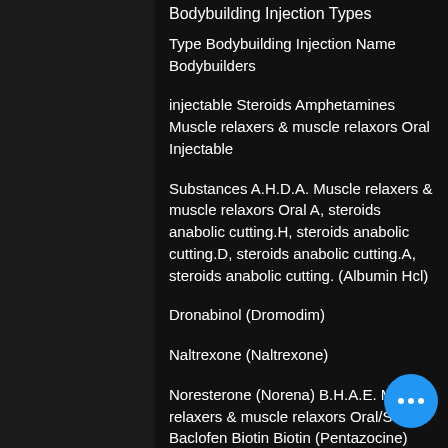Bodybuilding Injection Types
Type Bodybuilding Injection Name Bodybuilders
injectable Steroids Amphetamines Muscle relaxers & muscle relaxors Oral Injectable
Substances A.H.D.A. Muscle relaxers & muscle relaxors Oral A, steroids anabolic cutting.H, steroids anabolic cutting.D, steroids anabolic cutting.A, steroids anabolic cutting. (Albumin Hcl)
Dronabinol (Dromodim)
Naltrexone (Naltrexone)
Noresterone (Norena) B.H.A.E. Muscle relaxers & muscle relaxors Oral/Subst Baclofen Biotin Biotin (Pentazocine)